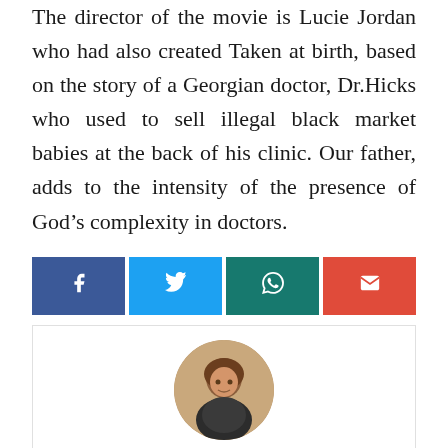The director of the movie is Lucie Jordan who had also created Taken at birth, based on the story of a Georgian doctor, Dr.Hicks who used to sell illegal black market babies at the back of his clinic. Our father, adds to the intensity of the presence of God's complexity in doctors.
[Figure (other): Social share buttons: Facebook (blue), Twitter (light blue), WhatsApp (teal), Email (red)]
[Figure (photo): Circular author photo of Swapna Chowdhury]
Swapna Chowdhury
She is a writer from the City of Joy, where some great poets and novelists have emerged. Her main motive is to learn new